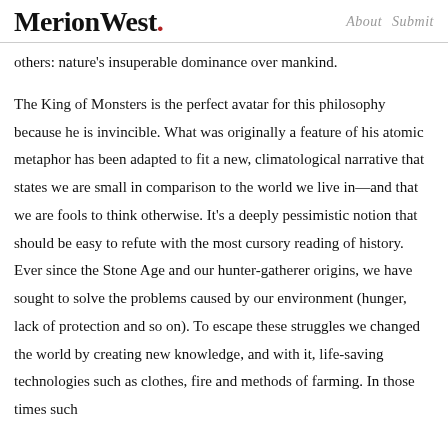MerionWest. About Submit
others: nature's insuperable dominance over mankind.
The King of Monsters is the perfect avatar for this philosophy because he is invincible. What was originally a feature of his atomic metaphor has been adapted to fit a new, climatological narrative that states we are small in comparison to the world we live in—and that we are fools to think otherwise. It's a deeply pessimistic notion that should be easy to refute with the most cursory reading of history. Ever since the Stone Age and our hunter-gatherer origins, we have sought to solve the problems caused by our environment (hunger, lack of protection and so on). To escape these struggles we changed the world by creating new knowledge, and with it, life-saving technologies such as clothes, fire and methods of farming. In those times such